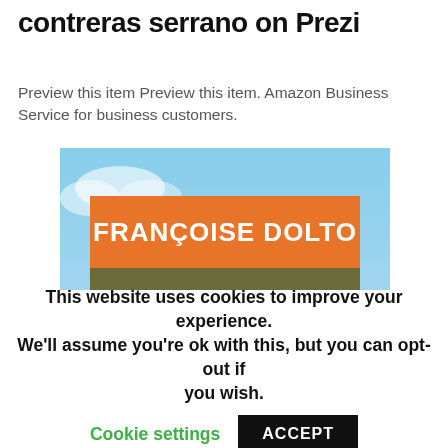contreras serrano on Prezi
Preview this item Preview this item. Amazon Business Service for business customers.
[Figure (photo): Book cover of 'La causa de los adolescentes' by Françoise Dolto. The cover features a blue sky background with a large orange banner at the top showing the author's name 'FRANÇOISE DOLTO' in white bold letters, and below an olive/brown area with the title 'La causa de los' in white italic text.]
This website uses cookies to improve your experience. We'll assume you're ok with this, but you can opt-out if you wish. Cookie settings ACCEPT